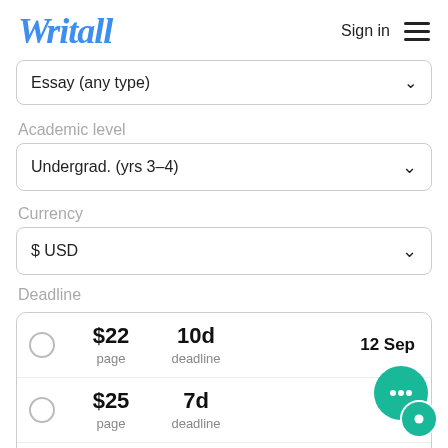Writall   Sign in
Essay (any type)
Academic level
Undergrad. (yrs 3-4)
Currency
$ USD
Deadline
|  | Price | Deadline | Date |
| --- | --- | --- | --- |
| ○ | $22
page | 10d
deadline | 12 Sep |
| ○ | $25
page | 7d
deadline |  |
| ○ | $28
page | 5d
deadline |  |